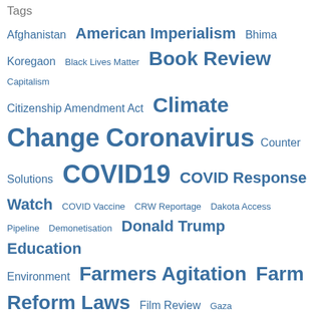Tags
[Figure (infographic): Tag cloud with various topics in different font sizes indicating frequency/importance. Topics include: Afghanistan, American Imperialism, Bhima Koregaon, Black Lives Matter, Book Review, Capitalism, Citizenship Amendment Act, Climate Change, Coronavirus, Counter Solutions, COVID19, COVID Response Watch, COVID Vaccine, CRW Reportage, Dakota Access Pipeline, Demonetisation, Donald Trump, Education, Environment, Farmers Agitation, Farm Reform Laws, Film Review, Gaza, Global Warming, Health, Hindutva, Human Rights, Iran]